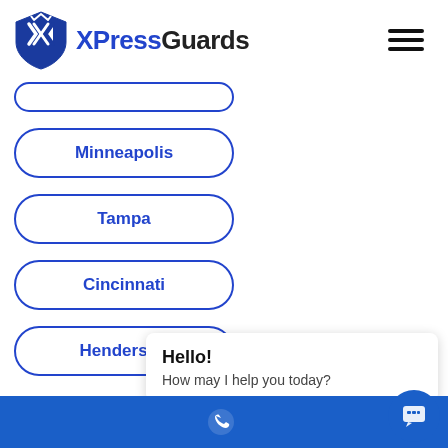[Figure (logo): XPressGuards logo with blue shield and hamburger menu icon]
(partial button - top cut off)
Minneapolis
Tampa
Cincinnati
Henderson
Hello! How may I help you today?